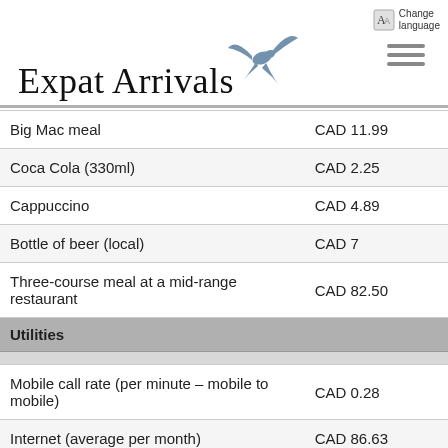Expat Arrivals
| Item | Price |
| --- | --- |
| Big Mac meal | CAD 11.99 |
| Coca Cola (330ml) | CAD 2.25 |
| Cappuccino | CAD 4.89 |
| Bottle of beer (local) | CAD 7 |
| Three-course meal at a mid-range restaurant | CAD 82.50 |
| Utilities |  |
| Mobile call rate (per minute – mobile to mobile) | CAD 0.28 |
| Internet (average per month) | CAD 86.63 |
| Basic utilities (per month for a small apartment) | CAD 237.33 |